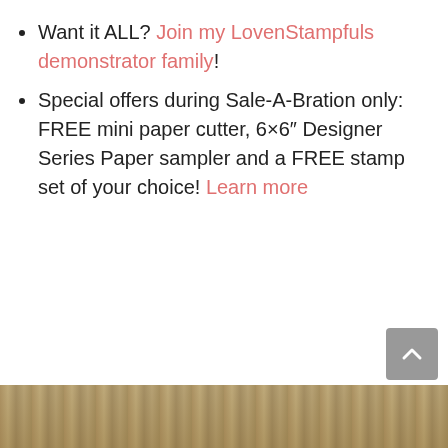Want it ALL? Join my LovenStampfuls demonstrator family!
Special offers during Sale-A-Bration only: FREE mini paper cutter, 6×6" Designer Series Paper sampler and a FREE stamp set of your choice! Learn more
[Figure (photo): Partial view of a wooden/natural textured background photo strip at the bottom of the page]